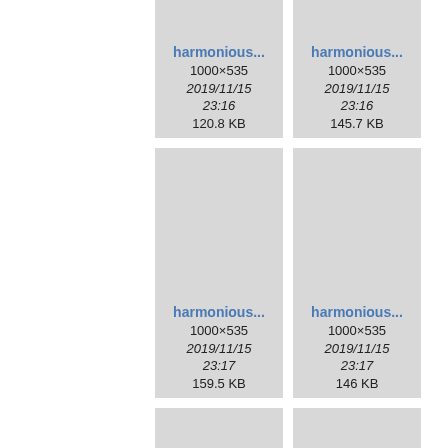[Figure (screenshot): File browser grid showing image thumbnails with metadata. Row 1: two cards, each showing 'harmonious...' title, 1000×535, 2019/11/15 23:16, 120.8 KB and 145.7 KB. Row 2: two cards with gray thumbnail area, 'harmonious...' title, 1000×535, 2019/11/15 23:17, 159.5 KB and 146 KB. Row 3: two cards with gray thumbnail area, 'harmonious...' title, 1000×535, 2019/11/15 (partial).]